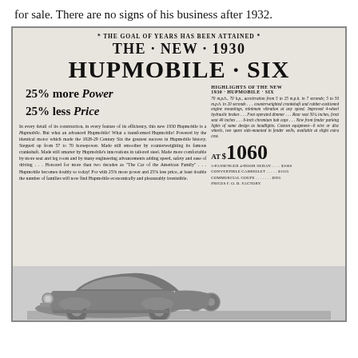for sale. There are no signs of his business after 1932.
[Figure (photo): Vintage 1930 Hupmobile Six newspaper advertisement showing the car's title, features, price of $1060, body text about the car's qualities, and a photographic image of the vehicle at the bottom. Headline reads 'THE GOAL OF YEARS HAS BEEN ATTAINED' with 'THE NEW 1930 HUPMOBILE SIX', '25% more Power, 25% less Price'.]